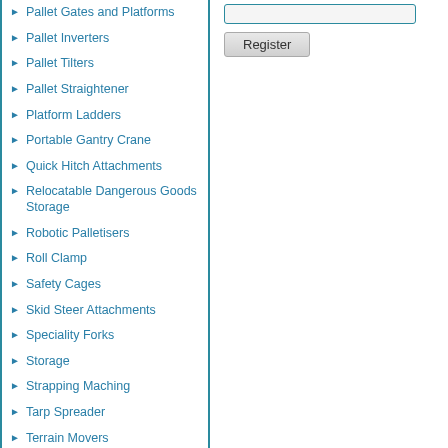Pallet Gates and Platforms
Pallet Inverters
Pallet Tilters
Pallet Straightener
Platform Ladders
Portable Gantry Crane
Quick Hitch Attachments
Relocatable Dangerous Goods Storage
Robotic Palletisers
Roll Clamp
Safety Cages
Skid Steer Attachments
Speciality Forks
Storage
Strapping Maching
Tarp Spreader
Terrain Movers